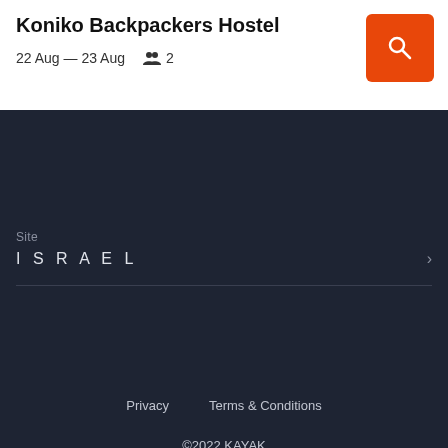Koniko Backpackers Hostel
22 Aug — 23 Aug  👥 2
Site
ISRAEL
Privacy    Terms & Conditions
©2022 KAYAK
Search for Koniko Backpackers Hostel discounts in Ho Chi Minh City with KAYAK. Search for the cheapest hotel deal for Koniko Backpackers Hostel in Ho Chi Minh City. KAYAK searches hundreds of travel sites to help you find and book the hotel deal at Koniko Backpackers Hostel that suits you best. ₫112 per night (Latest starting price for this hotel).